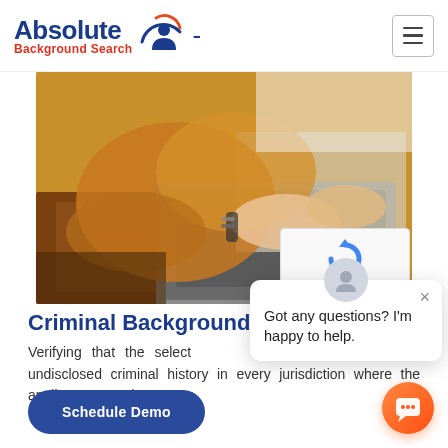[Figure (logo): Absolute Background Search logo with person icon graphic and red/blue text]
[Figure (photo): Close-up photo of a person's hands typing on a laptop, wearing bracelets, warm brown/amber tones]
Criminal Background
Verifying that the selected not have any undisclosed criminal history in every jurisdiction where the applicant or employee curr
[Figure (other): Chat popup widget with avatar icon showing 'Got any questions? I'm happy to help.' message and close button]
[Figure (other): Orange circular chat bubble button in bottom right corner]
[Figure (other): reCAPTCHA widget showing blue reCAPTCHA logo with Privacy and Terms links]